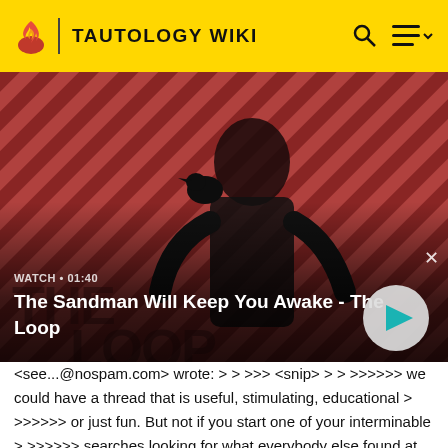TAUTOLOGY WIKI
[Figure (screenshot): Video thumbnail for 'The Sandman Will Keep You Awake - The Loop' showing a pale man in black with a raven on his shoulder against a red/black diagonal striped background. Shows WATCH • 01:40 label and a play button.]
<see...@nospam.com> wrote: > > >>> <snip> > > >>>>>> we could have a thread that is useful, stimulating, educational > >>>>>> or just fun. But not if you start one of your interminable > >>>>>> searches looking for what everybody else found at age 12 years, > >>>>>> not if you are going to try again to convince the rest of the > >>>>>